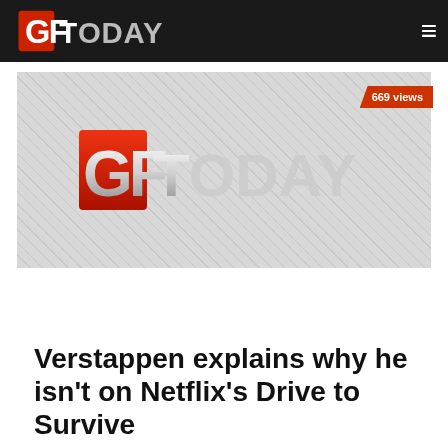GFToday
[Figure (logo): GFToday logo watermark on grey dotted background with 669 views badge in red]
Verstappen explains why he isn't on Netflix's Drive to Survive
Article To news overview © Red Bull Contentpool Although Drive to Survive has been a hit series for Netflix, Max Verstappen says he won't be appearing on the show as they've faked rivalries in the past. The show, which gives fans a behind the scenes look at the action on and off the track, has been a hit in the United States, however the Dutchman explained why he has no interest in being part of it. "I understand that it needs to